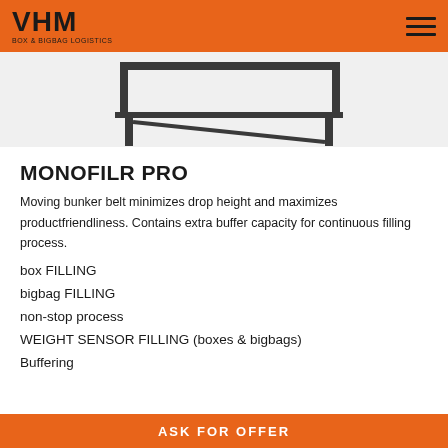VHM BOX & BIGBAG LOGISTICS
[Figure (photo): Partial photo of a monofilr pro machine/conveyor system, dark metal structure on white background]
MONOFILR PRO
Moving bunker belt minimizes drop height and maximizes productfriendliness. Contains extra buffer capacity for continuous filling process.
box FILLING
bigbag FILLING
non-stop process
WEIGHT SENSOR FILLING (boxes & bigbags)
Buffering
ASK FOR OFFER